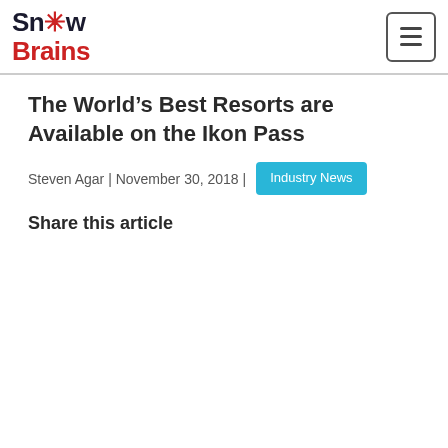SnowBrains
The World’s Best Resorts are Available on the Ikon Pass
Steven Agar | November 30, 2018 | Industry News
Share this article